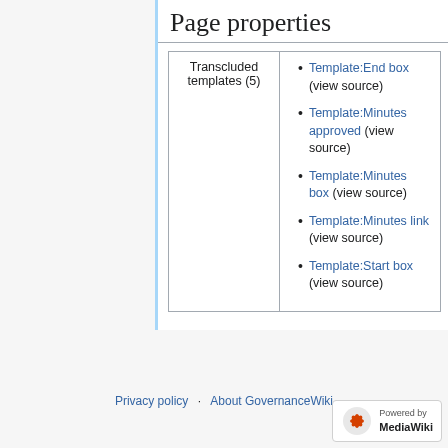Page properties
| Transcluded templates (5) |  |
| --- | --- |
|  | Template:End box (view source)
Template:Minutes approved (view source)
Template:Minutes box (view source)
Template:Minutes link (view source)
Template:Start box (view source) |
Privacy policy · About GovernanceWiki